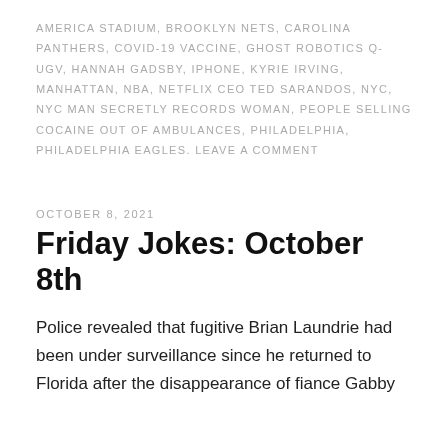AMERICA STADIUM, BROOKLYN NETS, CAROLINA PANTHERS, COVID-19 VACCINE, GHOST ROBOTICS Q-UGV, HANNAH GADSBY, IPHONE, KYRIE IRVING, MANHATTAN, NBA, NETFLIX CEO TED SARANDOS, NYC, NYC MAN SECRETLY RECORDS WOMAN, PEOPLE SELLING COCAINE OUT OF AMBULANCES, PHILADELPHIA, PHILADELPHIA EAGLES. LEAVE A COMMENT
OCTOBER 8, 2021
Friday Jokes: October 8th
Police revealed that fugitive Brian Laundrie had been under surveillance since he returned to Florida after the disappearance of fiance Gabby